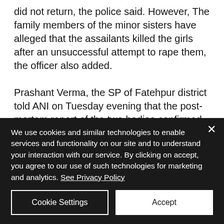did not return, the police said. However, The family members of the minor sisters have alleged that the assailants killed the girls after an unsuccessful attempt to rape them, the officer also added.

Prashant Verma, the SP of Fatehpur district told ANI on Tuesday evening that the post-mortem report of the two bodies confirmed
We use cookies and similar technologies to enable services and functionality on our site and to understand your interaction with our service. By clicking on accept, you agree to our use of such technologies for marketing and analytics. See Privacy Policy